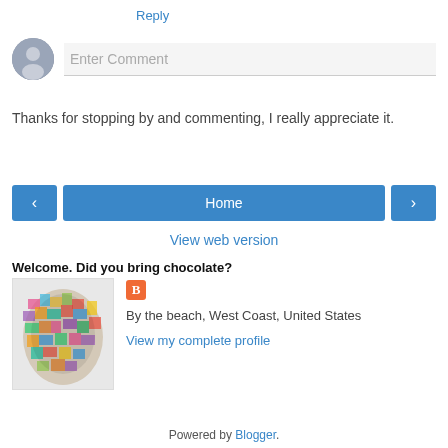Reply
[Figure (other): Comment input area with grey avatar circle and 'Enter Comment' placeholder text field]
Thanks for stopping by and commenting, I really appreciate it.
[Figure (other): Navigation bar with left arrow button, Home button, and right arrow button]
View web version
Welcome. Did you bring chocolate?
[Figure (photo): Profile image: colorful mosaic portrait of a person's head silhouette]
By the beach, West Coast, United States
View my complete profile
Powered by Blogger.